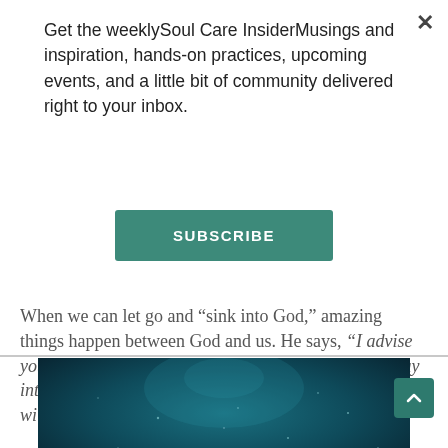Get the weeklySoul Care InsiderMusings and inspiration, hands-on practices, upcoming events, and a little bit of community delivered right to your inbox.
SUBSCRIBE
[Figure (photo): Underwater scene with deep teal-blue water, light particles scattered, dark atmospheric depth photograph]
When we can let go and “sink into God,” amazing things happen between God and us. He says, “I advise you to let your own ‘being you’ sink into and flow away into God’s ‘being God.’ Then your ‘you’ and God’s ‘his’ will become so completely